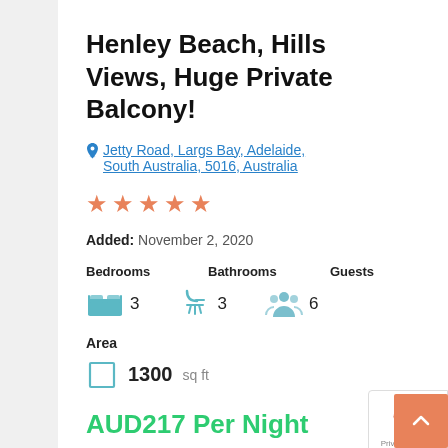Henley Beach, Hills Views, Huge Private Balcony!
Jetty Road, Largs Bay, Adelaide, South Australia, 5016, Australia
★★★★★
Added: November 2, 2020
| Bedrooms | Bathrooms | Guests |
| --- | --- | --- |
| 3 | 3 | 6 |
Area
1300 sq ft
AUD217 Per Night